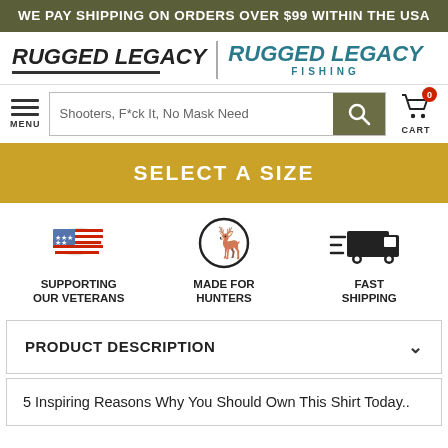WE PAY SHIPPING ON ORDERS OVER $99 WITHIN THE USA
[Figure (logo): Rugged Legacy and Rugged Legacy Fishing logos side by side]
Shooters, F*ck It, No Mask Need (search bar) MENU CART 0
SELECT A SIZE
[Figure (infographic): Three icons: US flag map (Supporting Our Veterans), deer in circle (Made for Hunters), fast delivery truck (Fast Shipping)]
SUPPORTING OUR VETERANS
MADE FOR HUNTERS
FAST SHIPPING
PRODUCT DESCRIPTION
5 Inspiring Reasons Why You Should Own This Shirt Today..